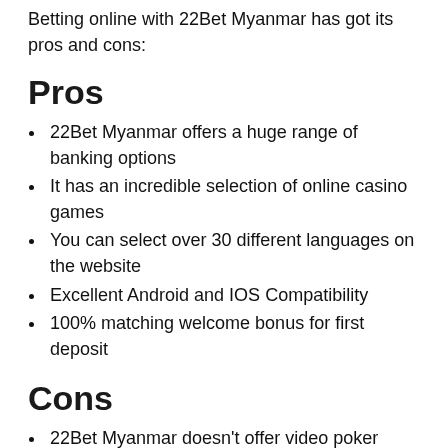Betting online with 22Bet Myanmar has got its pros and cons:
Pros
22Bet Myanmar offers a huge range of banking options
It has an incredible selection of online casino games
You can select over 30 different languages on the website
Excellent Android and IOS Compatibility
100% matching welcome bonus for first deposit
Cons
22Bet Myanmar doesn't offer video poker games